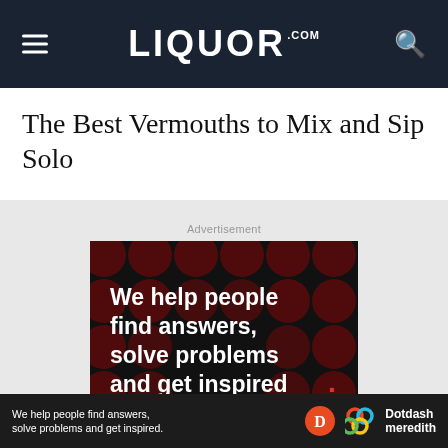LIQUOR.COM
The Best Vermouths to Mix and Sip Solo
Advertisement
[Figure (advertisement): Dotdash Meredith advertisement with black background and dark red polka dots. White bold text reads: We help people find answers, solve problems and get inspired. Red period at end. Below: LEARN MORE with orange arrow. Dotdash logo (orange circle with white D) and Meredith logo (colorful interlocking circles pattern).]
[Figure (advertisement): Bottom sticky bar ad: We help people find answers, solve problems and get inspired. Dotdash logo and Meredith logo with Dotdash meredith text.]